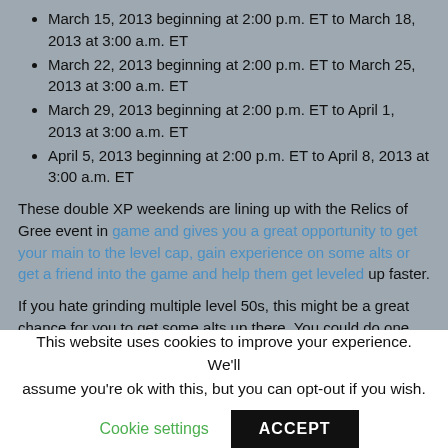March 15, 2013 beginning at 2:00 p.m. ET to March 18, 2013 at 3:00 a.m. ET
March 22, 2013 beginning at 2:00 p.m. ET to March 25, 2013 at 3:00 a.m. ET
March 29, 2013 beginning at 2:00 p.m. ET to April 1, 2013 at 3:00 a.m. ET
April 5, 2013 beginning at 2:00 p.m. ET to April 8, 2013 at 3:00 a.m. ET
These double XP weekends are lining up with the Relics of Gree event in game and gives you a great opportunity to get your main to the level cap, gain experience on some alts or get a friend into the game and help them get leveled up faster.
If you hate grinding multiple level 50s, this might be a great chance for you to get some alts up there. You could do one each [doubleXPweekend] if you really had the whole...
This website uses cookies to improve your experience. We'll assume you're ok with this, but you can opt-out if you wish.